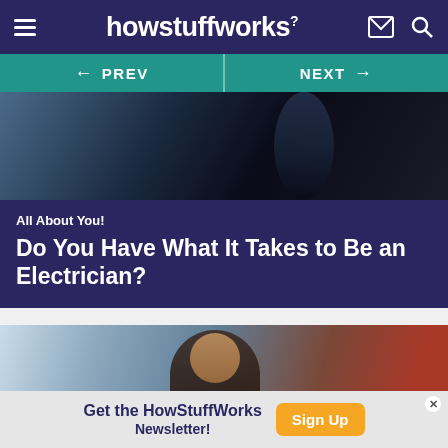howstuffworks
[Figure (screenshot): Navigation bar with PREV and NEXT buttons on teal background]
[Figure (photo): Dark atmospheric photo showing a person from behind with city lights]
All About You!
Do You Have What It Takes to Be an Electrician?
[Figure (photo): Woman with glasses working in an industrial/electrical setting]
Get the HowStuffWorks Newsletter!
Sign Up